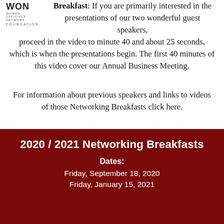[Figure (logo): WON Women Officials Network Foundation logo]
Breakfast: If you are primarily interested in the presentations of our two wonderful guest speakers, proceed in the video to minute 40 and about 25 seconds, which is when the presentations begin. The first 40 minutes of this video cover our Annual Business Meeting.
For information about previous speakers and links to videos of those Networking Breakfasts click here.
2020 / 2021 Networking Breakfasts
Dates:
Friday, September 18, 2020
Friday, January 15, 2021